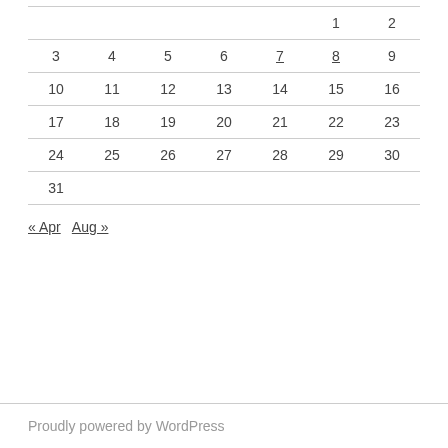|  |  |  |  |  |  |  |
| --- | --- | --- | --- | --- | --- | --- |
|  |  |  |  |  | 1 | 2 |
| 3 | 4 | 5 | 6 | 7 | 8 | 9 |
| 10 | 11 | 12 | 13 | 14 | 15 | 16 |
| 17 | 18 | 19 | 20 | 21 | 22 | 23 |
| 24 | 25 | 26 | 27 | 28 | 29 | 30 |
| 31 |  |  |  |  |  |  |
« Apr   Aug »
Proudly powered by WordPress